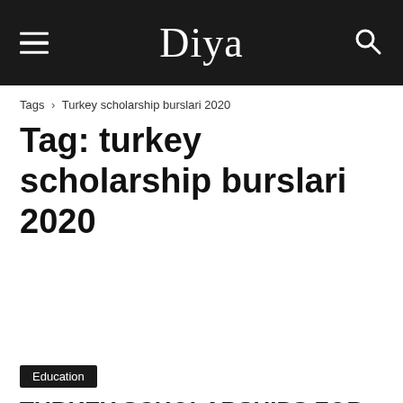Diya
Tags › Turkey scholarship burslari 2020
Tag: turkey scholarship burslari 2020
Education
TURKEY SCHOLARSHIPS FOR UNDERGRADUATE AND